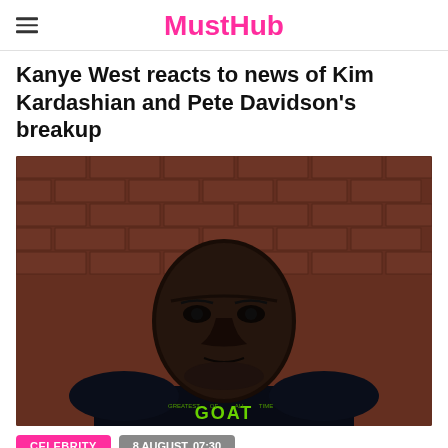MustHub
Kanye West reacts to news of Kim Kardashian and Pete Davidson's breakup
[Figure (photo): Portrait of a bald Black man in a dark t-shirt with 'GOAT' text, looking directly at the camera, standing in front of a red brick wall]
CELEBRITY   8 AUGUST, 07:30